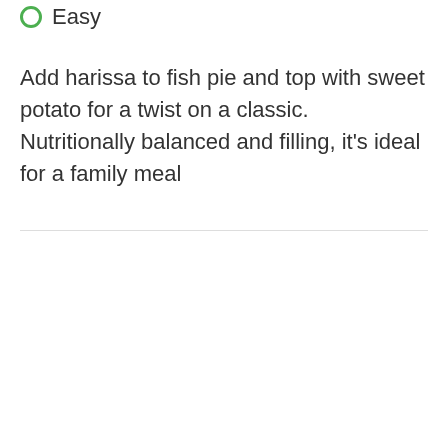Easy
Add harissa to fish pie and top with sweet potato for a twist on a classic. Nutritionally balanced and filling, it’s ideal for a family meal